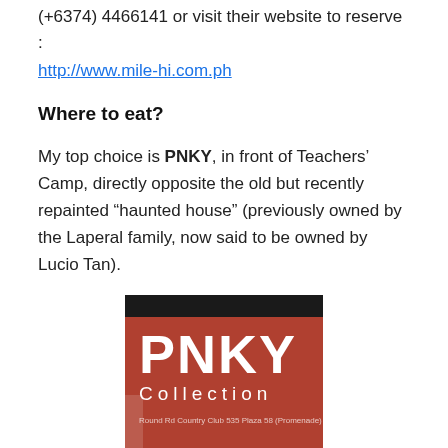(+6374) 4466141 or visit their website to reserve :
http://www.mile-hi.com.ph
Where to eat?
My top choice is PNKY, in front of Teachers’ Camp, directly opposite the old but recently repainted “haunted house” (previously owned by the Laperal family, now said to be owned by Lucio Tan).
[Figure (photo): PNKY Collection sign on a terracotta/brown background with white lettering]
The place is also a bed&breakfast, and just about everything in the place, including the lamp shades in your room, can be bought. Yes, PNKY is also into home